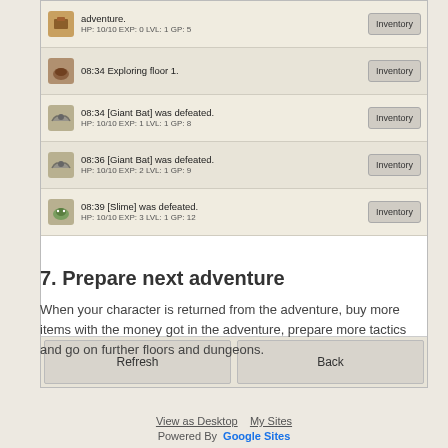[Figure (screenshot): Game log screenshot showing adventure entries with timestamps, enemy defeats, HP/EXP/LVL/GP stats, Inventory buttons, Refresh and Back buttons at bottom]
7. Prepare next adventure
When your character is returned from the adventure, buy more items with the money got in the adventure, prepare more tactics and go on further floors and dungeons.
View as Desktop   My Sites
Powered By  Google Sites